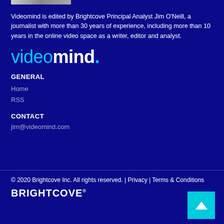[Figure (illustration): Small image strip at top (partial, cropped)]
Videomind is edited by Brightcove Principal Analyst Jim O'Neill, a journalist with more than 30 years of experience, including more than 10 years in the online video space as a writer, editor and analyst.
[Figure (logo): videomind. logo in cyan and white]
GENERAL
Home
RSS
CONTACT
jim@videomind.com
© 2020 Brightcove Inc. All rights reserved. | Privacy | Terms & Conditions
[Figure (logo): BRIGHTCOVE logo in white]
[Figure (illustration): Back to top arrow button in cyan]